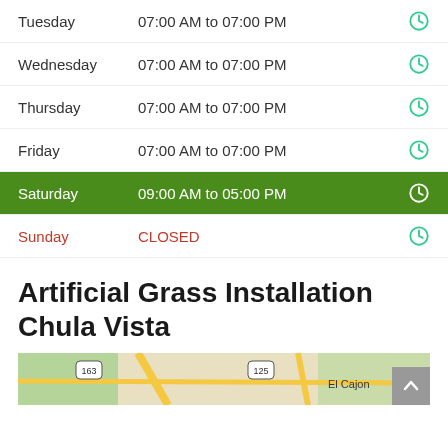Tuesday   07:00 AM to 07:00 PM
Wednesday   07:00 AM to 07:00 PM
Thursday   07:00 AM to 07:00 PM
Friday   07:00 AM to 07:00 PM
Saturday   09:00 AM to 05:00 PM
Sunday   CLOSED
Artificial Grass Installation Chula Vista
[Figure (map): Map showing area near El Cajon with highway routes 163 and 125 visible.]